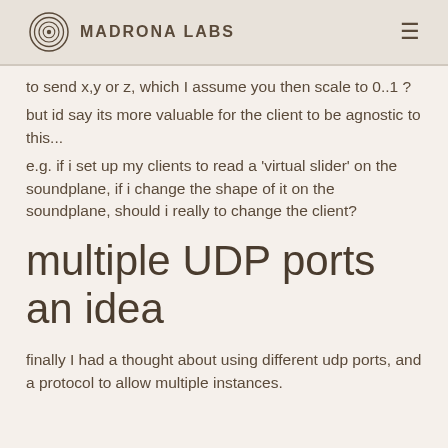Madrona Labs
to send x,y or z, which I assume you then scale to 0..1 ?
but id say its more valuable for the client to be agnostic to this...
e.g. if i set up my clients to read a 'virtual slider' on the soundplane, if i change the shape of it on the soundplane, should i really to change the client?
multiple UDP ports an idea
finally I had a thought about using different udp ports, and a protocol to allow multiple instances.